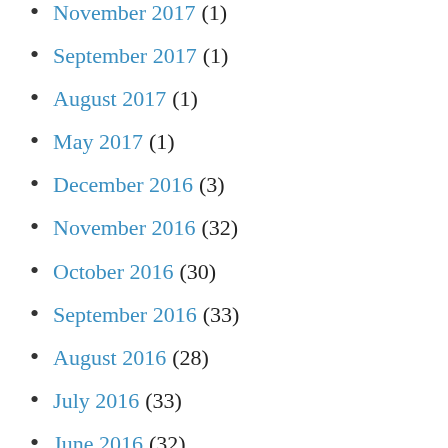November 2017 (1)
September 2017 (1)
August 2017 (1)
May 2017 (1)
December 2016 (3)
November 2016 (32)
October 2016 (30)
September 2016 (33)
August 2016 (28)
July 2016 (33)
June 2016 (32)
May 2016 (34)
April 2016 (33)
March 2016 (32)
February 2016 (30)
January 2016 (33)